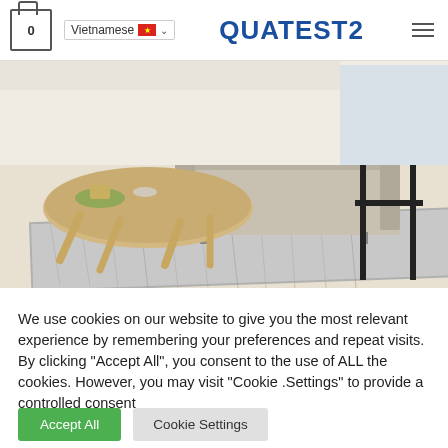Vietnamese | QUATEST2
[Figure (photo): Interior living room photo showing a modern coffee table on a textured rug with a sofa and shelving unit in the background]
We use cookies on our website to give you the most relevant experience by remembering your preferences and repeat visits. By clicking "Accept All", you consent to the use of ALL the cookies. However, you may visit "Cookie .Settings" to provide a controlled consent
Accept All
Cookie Settings